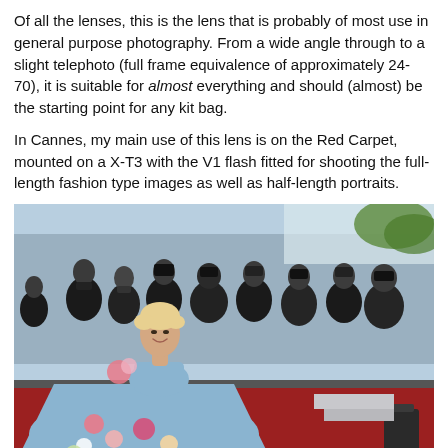Of all the lenses, this is the lens that is probably of most use in general purpose photography. From a wide angle through to a slight telephoto (full frame equivalence of approximately 24-70), it is suitable for almost everything and should (almost) be the starting point for any kit bag.
In Cannes, my main use of this lens is on the Red Carpet, mounted on a X-T3 with the V1 flash fitted for shooting the full-length fashion type images as well as half-length portraits.
[Figure (photo): A woman in a large blue floral gown smiling on a red carpet at the Cannes Film Festival, surrounded by photographers in dark clothing holding cameras.]